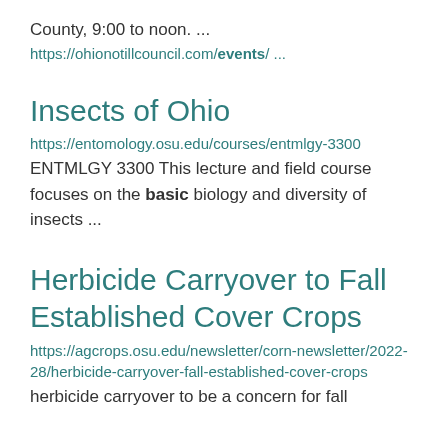County, 9:00 to noon. ...
https://ohionotillcouncil.com/events/ ...
Insects of Ohio
https://entomology.osu.edu/courses/entmlgy-3300
ENTMLGY 3300 This lecture and field course focuses on the basic biology and diversity of insects ...
Herbicide Carryover to Fall Established Cover Crops
https://agcrops.osu.edu/newsletter/corn-newsletter/2022-28/herbicide-carryover-fall-established-cover-crops
herbicide carryover to be a concern for fall